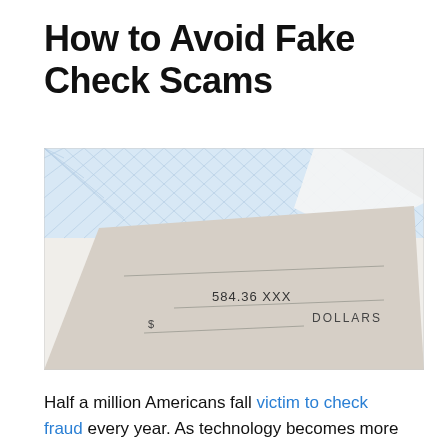How to Avoid Fake Check Scams
[Figure (photo): Close-up photo of a check showing amount 584.36 XXX and DOLLARS line, with a blue security-pattern envelope in the background]
Half a million Americans fall victim to check fraud every year. As technology becomes more